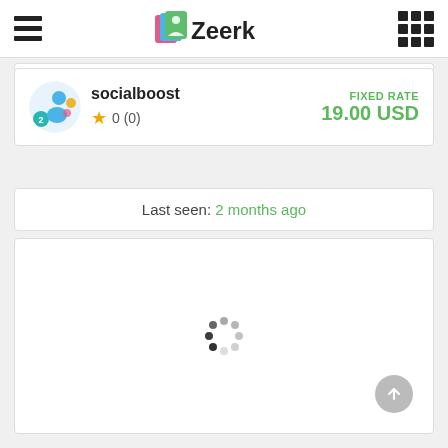Zeerk
socialboost
FIXED RATE
19.00 USD
0 (0)
Last seen: 2 months ago
[Figure (illustration): Loading spinner in a white card area]